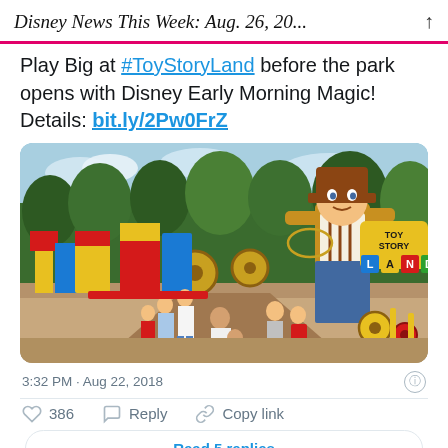Disney News This Week: Aug. 26, 20...
Play Big at #ToyStoryLand before the park opens with Disney Early Morning Magic! Details: bit.ly/2Pw0FrZ
[Figure (photo): Photo of Toy Story Land at Disney's Hollywood Studios showing a large Woody statue, colorful oversized toy-themed buildings and decorations, and visitors walking through the area.]
3:32 PM · Aug 22, 2018
386  Reply  Copy link
Read 5 replies